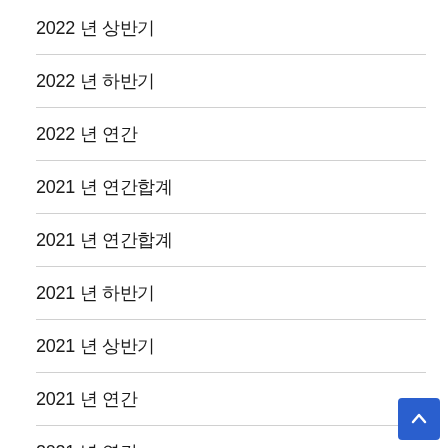2022 년 상반기
2022 년 하반기
2022 년 연간
2021 년 연간합계
2021 년 연간합계
2021 년 하반기
2021 년 상반기
2021 년 연간
2021 년 연간